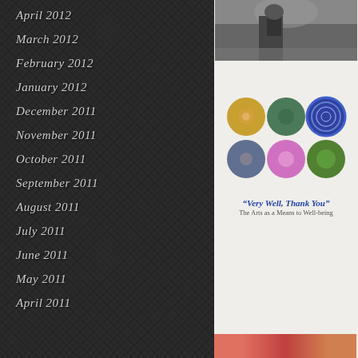April 2012
March 2012
February 2012
January 2012
December 2011
November 2011
October 2011
September 2011
August 2011
July 2011
June 2011
May 2011
April 2011
[Figure (photo): Black and white photo of a horse or animal with smoky/misty background]
[Figure (photo): Collage of six circular photos showing nature and art scenes with caption 'Very Well, Thank You' - The Arts as a Means to Well-being]
“Very Well, Thank You”
The Arts as a Means to Well-being
[Figure (photo): Colorful photo at bottom right, partially visible]